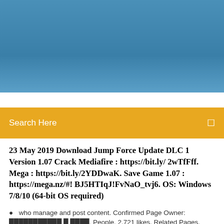[Figure (other): Blue sky/header banner image at the top of the page]
Search Here
23 May 2019 Download Jump Force Update DLC 1 Version 1.07 Crack Mediafire : https://bit.ly/ 2wTfFff. Mega : https://bit.ly/2YDDwaK. Save Game 1.07 : https://mega.nz/#! BJ5HTIqJ!FvNaO_tvj6. OS: Windows 7/8/10 (64-bit OS required)
who manage and post content. Confirmed Page Owner:  . People. 2,721 likes. Related Pages. Ninja World War: Global Force.  |
9 Comments